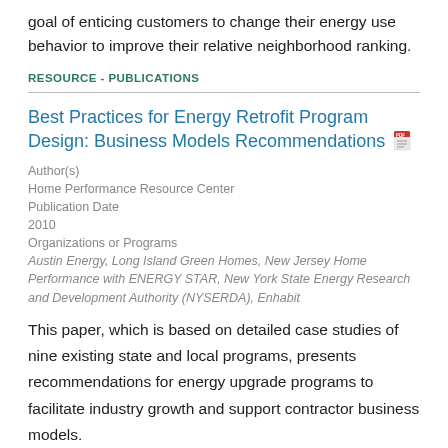goal of enticing customers to change their energy use behavior to improve their relative neighborhood ranking.
RESOURCE - PUBLICATIONS
Best Practices for Energy Retrofit Program Design: Business Models Recommendations
Author(s)
Home Performance Resource Center
Publication Date
2010
Organizations or Programs
Austin Energy, Long Island Green Homes, New Jersey Home Performance with ENERGY STAR, New York State Energy Research and Development Authority (NYSERDA), Enhabit
This paper, which is based on detailed case studies of nine existing state and local programs, presents recommendations for energy upgrade programs to facilitate industry growth and support contractor business models.